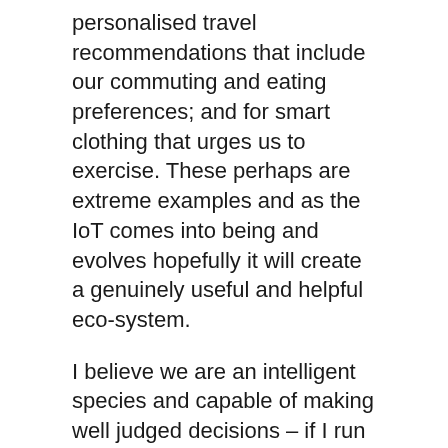personalised travel recommendations that include our commuting and eating preferences; and for smart clothing that urges us to exercise. These perhaps are extreme examples and as the IoT comes into being and evolves hopefully it will create a genuinely useful and helpful eco-system.
I believe we are an intelligent species and capable of making well judged decisions – if I run out of milk I am quite capable of popping down the road to the local shop to get a new carton or making a visit to the supermarket to replenish items used since my last visit. Some current thinking seems to suggest that the need to make valued decisions and judgements for ourselves will be lost. Undoubtedly life will be very different in 100 years time but at the moment I'm not quite ready to stop thinking, stop making regular daily decisions and hand over being smart to tiny